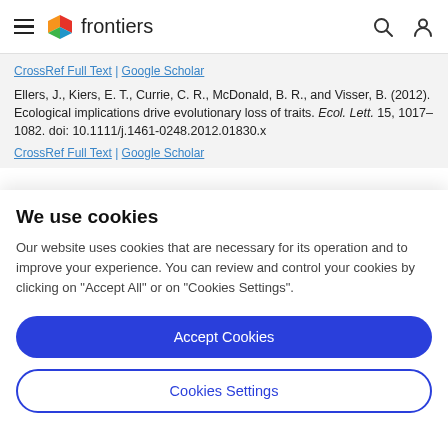frontiers
CrossRef Full Text | Google Scholar
Ellers, J., Kiers, E. T., Currie, C. R., McDonald, B. R., and Visser, B. (2012). Ecological implications drive evolutionary loss of traits. Ecol. Lett. 15, 1017–1082. doi: 10.1111/j.1461-0248.2012.01830.x
CrossRef Full Text | Google Scholar
We use cookies
Our website uses cookies that are necessary for its operation and to improve your experience. You can review and control your cookies by clicking on "Accept All" or on "Cookies Settings".
Accept Cookies
Cookies Settings